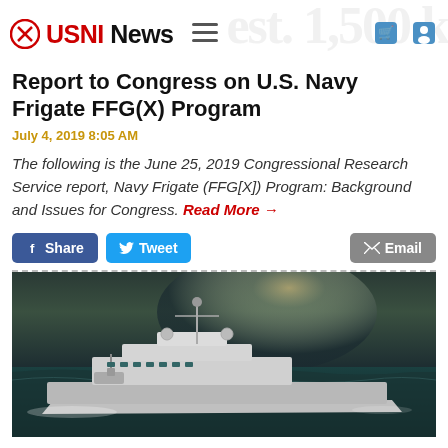USNI News
Report to Congress on U.S. Navy Frigate FFG(X) Program
July 4, 2019 8:05 AM
The following is the June 25, 2019 Congressional Research Service report, Navy Frigate (FFG[X]) Program: Background and Issues for Congress. Read More →
[Figure (screenshot): Social share buttons: Facebook Share, Twitter Tweet, Email]
[Figure (photo): Navy frigate ship (FFG(X) concept art) sailing on ocean with dramatic sky background]